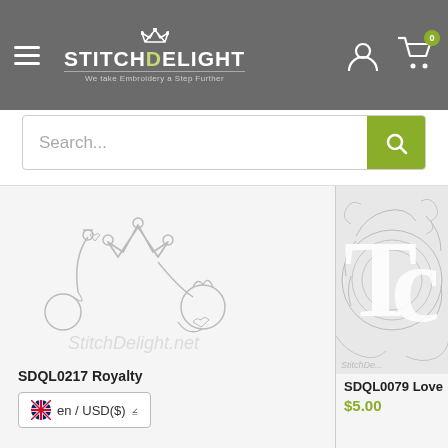StitchDelight — We take Embroidery a Step Further
Search...
[Figure (illustration): Embroidery design showing royalty items: crown, scepter, and orb outlines with StitchDelight.net watermark]
SDQL0217 Royalty
en / USD($)
[Figure (illustration): Embroidery design showing decorative letter with floral/mandala pattern and StitchDelight watermark]
SDQL0079 Love
$5.00